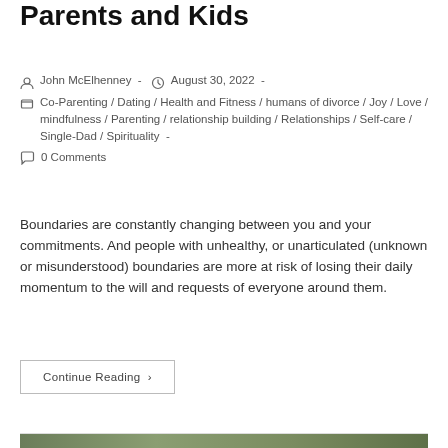Parents and Kids
John McElhenney  -  August 30, 2022  -
Co-Parenting / Dating / Health and Fitness / humans of divorce / Joy / Love / mindfulness / Parenting / relationship building / Relationships / Self-care / Single-Dad / Spirituality -
0 Comments
Boundaries are constantly changing between you and your commitments. And people with unhealthy, or unarticulated (unknown or misunderstood) boundaries are more at risk of losing their daily momentum to the will and requests of everyone around them.
Continue Reading ›
[Figure (photo): Partial green outdoor/nature photo at bottom of page]